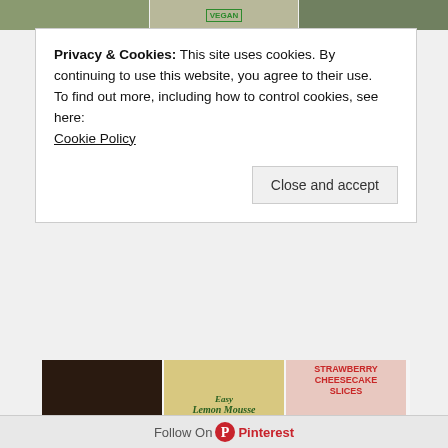[Figure (photo): Top strip showing three food images partially visible at top of page]
Privacy & Cookies: This site uses cookies. By continuing to use this website, you agree to their use.
To find out more, including how to control cookies, see here: Cookie Policy
Close and accept
[Figure (photo): Pinterest grid showing food recipe images: BBQ sauce, Easy Lemon Mousse, Strawberry Cheesecake Slices, Seitan Satay with Spicy Peanut Sauce, Life Changing BBQ Vegan Ribs, Vegan Rose Meringues]
Follow On Pinterest